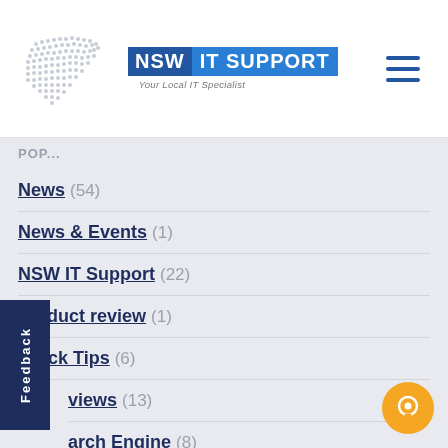[Figure (logo): NSW IT Support logo with dotted NSW map outline and blue text badge reading NSW IT SUPPORT - Your Local IT Specialist]
News (54)
News & Events (1)
NSW IT Support (22)
product review (1)
Quick Tips (6)
…views (13)
…arch Engine (8)
…urity (13)
SEO (16)